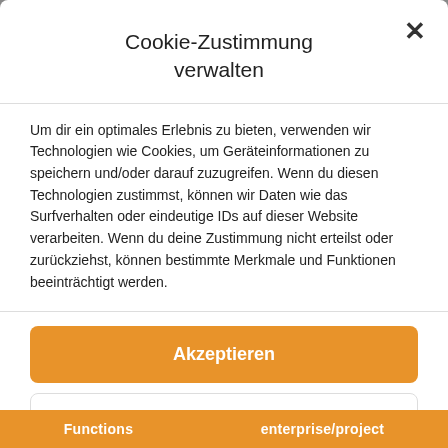Cookie-Zustimmung verwalten
Um dir ein optimales Erlebnis zu bieten, verwenden wir Technologien wie Cookies, um Geräteinformationen zu speichern und/oder darauf zuzugreifen. Wenn du diesen Technologien zustimmst, können wir Daten wie das Surfverhalten oder eindeutige IDs auf dieser Website verarbeiten. Wenn du deine Zustimmung nicht erteilst oder zurückziehst, können bestimmte Merkmale und Funktionen beeinträchtigt werden.
Akzeptieren
Ablehnen
Einstellungen ansehen
Privacy policy   Imprint
Functions   enterprise/project